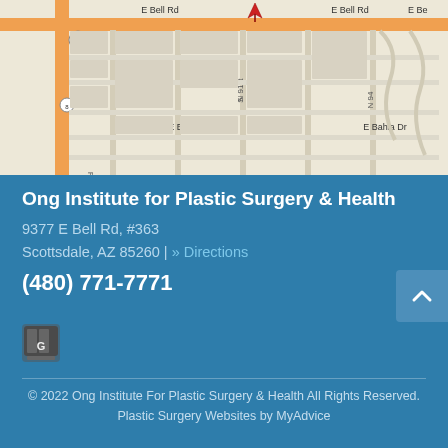[Figure (map): Street map showing E Bell Rd and E Bahia Dr intersection area in Scottsdale, AZ with a red location pin marker near 9377 E Bell Rd]
Ong Institute for Plastic Surgery & Health
9377 E Bell Rd, #363
Scottsdale, AZ 85260 | » Directions
(480) 771-7771
[Figure (logo): Google Maps small icon/badge]
© 2022 Ong Institute For Plastic Surgery & Health All Rights Reserved. Plastic Surgery Websites by MyAdvice